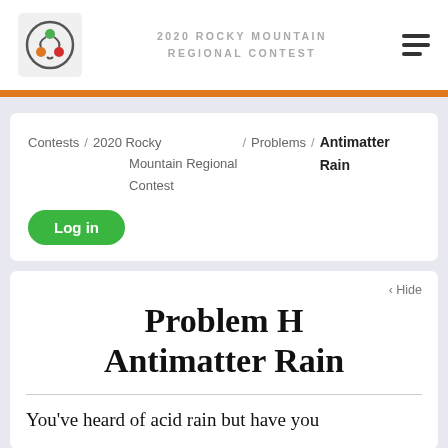2020 ROCKY MOUNTAIN REGIONAL CONTEST
Contests / 2020 Rocky Mountain Regional Contest / Problems / Antimatter Rain
Log in
Problem H
Antimatter Rain
You've heard of acid rain but have you